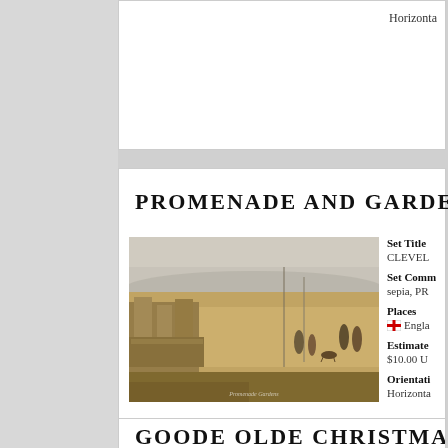Horizontal
PROMENADE AND GARDENS
[Figure (photo): Sepia vintage postcard photograph of a seaside promenade with people walking, stone balustrades and walls, lampposts, and distant hills. Period clothing suggests early 20th century.]
Set Title
CLEVEL
Set Comm
sepia, PR
Places
England
Estimated
$10.00 U
Orientation
Horizontal
GOODE OLDE CHRISTMAS CHEERF